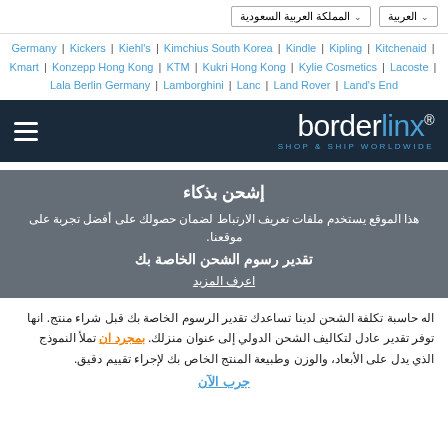المملكة العربية السعودية | العربية
Germany | Kickers | Kiehl's | Kimchius South Korea | Kindle | Kipling | Kitchenaid | Kmart | Konzepp Hong Kong | KTM | Kukri Hong Kong | Kylie Cosmetics | Lacoste | Lala Berlin Germany | Lamborghini | Lanc | Land Rover | Land's End
[Figure (logo): Borderlinx logo with hamburger menu on dark navy background. Logo reads 'borderlinx SHOP & SHIP WORLDWIDE']
إشحن بذكاء
هذا الموقع يستخدم ملفات تعريف الارتباط لضمان حصولك على أفضل تجربة على موقعنا.
تقدير رسوم الشحن الخاصة بك
اعرف المزيد
اله حاسبة تكلفة الشحن لدينا تساعدك تقدير الرسوم الخاصة بك قبل شراء منتج. انها توفر تقدير عادل لتكاليف الشحن الدولي إلى عنوان منزلك. بمجرد ان تملأ النموذج الذي يدل على الأبعاد، والوزن وطبيعة المنتج الخاص بك لإجراء تقييم دقيق.